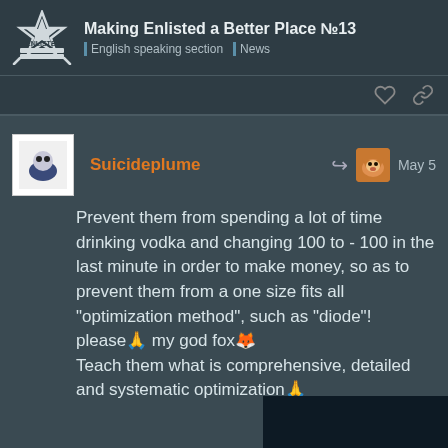Making Enlisted a Better Place №13 | English speaking section | News
Suicideplume  May 5
Prevent them from spending a lot of time drinking vodka and changing 100 to - 100 in the last minute in order to make money, so as to prevent them from a one size fits all "optimization method", such as "diode"! please🙏 my god fox🦊 Teach them what is comprehensive, detailed and systematic optimization🙏
[Figure (screenshot): Dark image preview at bottom right]